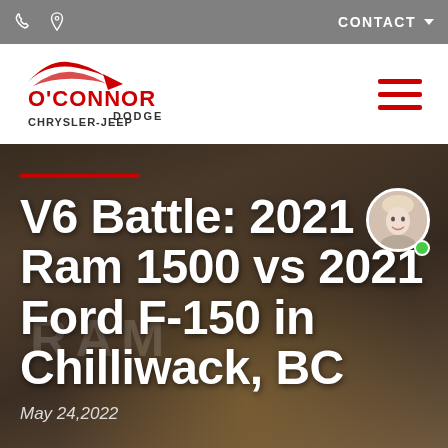O'Connor Dodge Chrysler-Jeep — CONTACT
[Figure (logo): O'Connor Dodge Chrysler-Jeep logo with red swoosh/car icon and red/dark text]
V6 Battle: 2021 Ram 1500 vs 2021 Ford F-150 in Chilliwack, BC
May 24,2022